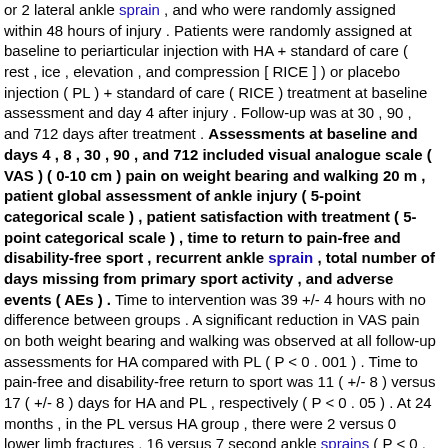or 2 lateral ankle sprain , and who were randomly assigned within 48 hours of injury . Patients were randomly assigned at baseline to periarticular injection with HA + standard of care ( rest , ice , elevation , and compression [ RICE ] ) or placebo injection ( PL ) + standard of care ( RICE ) treatment at baseline assessment and day 4 after injury . Follow-up was at 30 , 90 , and 712 days after treatment . Assessments at baseline and days 4 , 8 , 30 , 90 , and 712 included visual analogue scale ( VAS ) ( 0-10 cm ) pain on weight bearing and walking 20 m , patient global assessment of ankle injury ( 5-point categorical scale ) , patient satisfaction with treatment ( 5-point categorical scale ) , time to return to pain-free and disability-free sport , recurrent ankle sprain , total number of days missing from primary sport activity , and adverse events ( AEs ) . Time to intervention was 39 +/- 4 hours with no difference between groups . A significant reduction in VAS pain on both weight bearing and walking was observed at all follow-up assessments for HA compared with PL ( P < 0 . 001 ) . Time to pain-free and disability-free return to sport was 11 ( +/- 8 ) versus 17 ( +/- 8 ) days for HA and PL , respectively ( P < 0 . 05 ) . At 24 months , in the PL versus HA group , there were 2 versus 0 lower limb fractures , 16 versus 7 second ankle sprains ( P < 0 . 05 ) , 3 versus 1 third ankle sprains , and a significantly greater number of days missing primary sport activity ( 41 vs 21 ; P < 0 . 002 ) .
[ Sen. 12, subscore: 1.00 ]: Time to pain-free and disability-free return to sport was 11 ( +/- 8 ) versus 17 ( +/- 8 ) days for HA and PL , respectively ( P < 0 . 05 ) . At 24 months , in the PL versus HA group , there were 2 versus 0 lower limb fractures , 16 versus 7 second ankle sprains ( P < 0 . 05 ) , 3 versus 1 third ankle sprains , and a significantly greater number of days missing primary sport activity ( 41 vs 21 ; P < 0 . 002 ) . Significantly greater patient satisfaction was also observed for HA versus PL at all follow-up assessments . No serious AEs were recorded